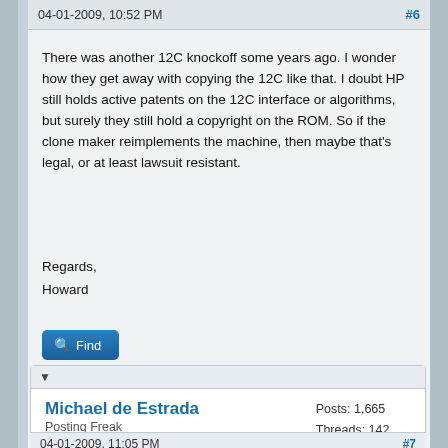04-01-2009, 10:52 PM  #6
There was another 12C knockoff some years ago. I wonder how they get away with copying the 12C like that. I doubt HP still holds active patents on the 12C interface or algorithms, but surely they still hold a copyright on the ROM. So if the clone maker reimplements the machine, then maybe that's legal, or at least lawsuit resistant.
Regards,
Howard
Find
Michael de Estrada
Posting Freak
Posts: 1,665
Threads: 142
Joined: Jan 2009
04-01-2009, 11:05 PM  #7